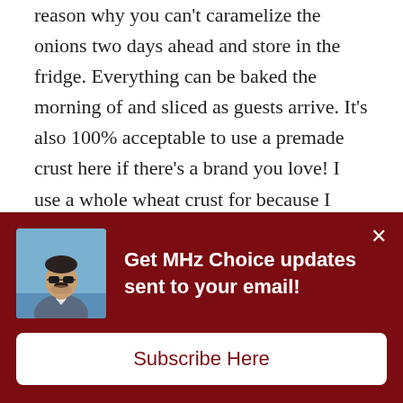reason why you can't caramelize the onions two days ahead and store in the fridge. Everything can be baked the morning of and sliced as guests arrive. It's also 100% acceptable to use a premade crust here if there's a brand you love! I use a whole wheat crust for because I love the slightly rustic quality it gives, but your favorite all-purpose crust will work great here as well.
[Figure (photo): Partial food photo strip visible behind the popup overlay]
[Figure (screenshot): Dark red popup overlay with a man's photo (wearing sunglasses, grey blazer), bold white text 'Get MHz Choice updates sent to your email!', a close X button, and a white 'Subscribe Here' button.]